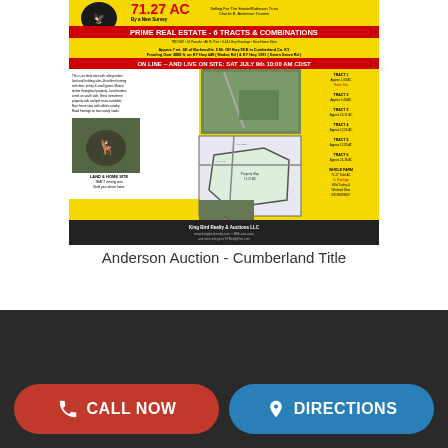[Figure (infographic): Anderson Auction real estate flyer for 71.27 AC Prime Real Estate - 6 Tracts & Combinations in Cumberland County KY. Yellow background with red header text, location details, aerial/deer photos, property map, and auction company footer. Online and live on-site auction SAT JULY 9th 10:00 AM CST.]
Anderson Auction - Cumberland Title
[Figure (infographic): Dark gray/black bottom navigation section of a mobile website with two buttons: CALL NOW (red) and DIRECTIONS (blue), plus a scroll-up arrow button on the right side.]